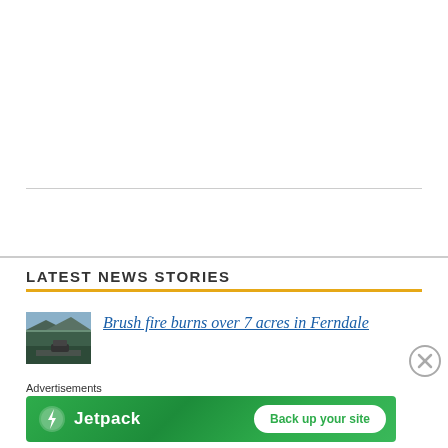LATEST NEWS STORIES
Brush fire burns over 7 acres in Ferndale
Advertisements
[Figure (illustration): Jetpack advertisement banner with green background, Jetpack logo on left, and 'Back up your site' button on right]